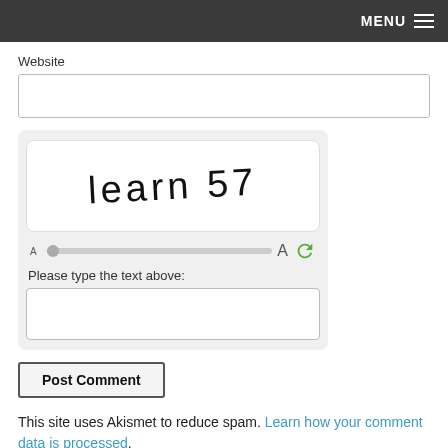MENU
Website
[Figure (screenshot): CAPTCHA widget showing handwritten text 'learn 57' with a font-size slider and refresh button, and a text input field labeled 'Please type the text above:']
Post Comment
This site uses Akismet to reduce spam. Learn how your comment data is processed.